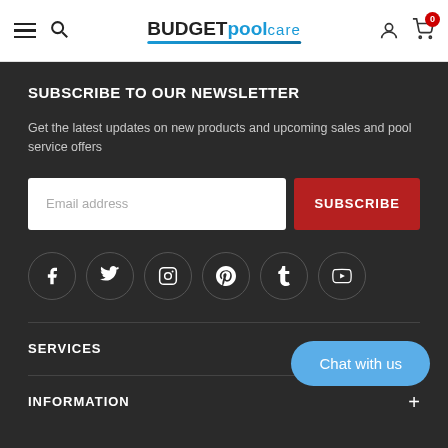BUDGETpoolCARE — navigation header with hamburger, search, logo, account, cart (0)
SUBSCRIBE TO OUR NEWSLETTER
Get the latest updates on new products and upcoming sales and pool service offers
Email address [input] SUBSCRIBE [button]
[Figure (infographic): Row of 6 social media icon circles: Facebook, Twitter, Instagram, Pinterest, Tumblr, YouTube]
SERVICES
INFORMATION